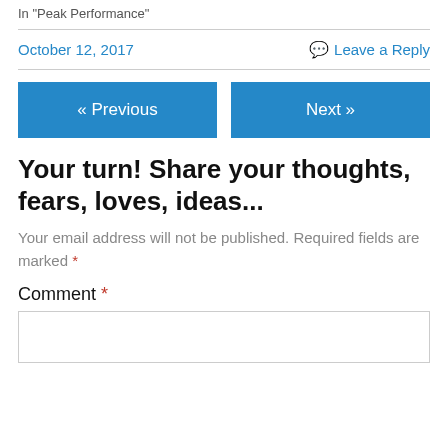In "Peak Performance"
October 12, 2017    Leave a Reply
« Previous
Next »
Your turn! Share your thoughts, fears, loves, ideas...
Your email address will not be published. Required fields are marked *
Comment *